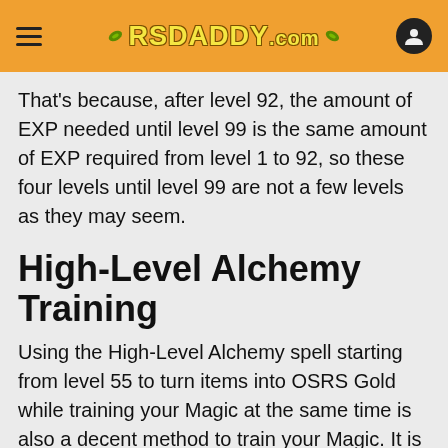RSDADDY.com
That's because, after level 92, the amount of EXP needed until level 99 is the same amount of EXP required from level 1 to 92, so these four levels until level 99 are not a few levels as they may seem.
High-Level Alchemy Training
Using the High-Level Alchemy spell starting from level 55 to turn items into OSRS Gold while training your Magic at the same time is also a decent method to train your Magic. It is a typical